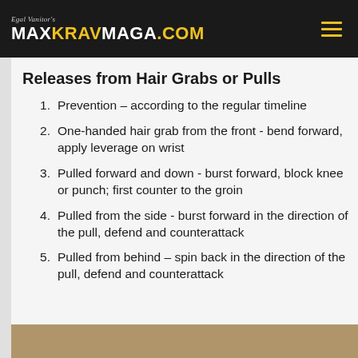Egal Vanitor's MAXKRAVMAGA.COM
Releases from Hair Grabs or Pulls
Prevention – according to the regular timeline
One-handed hair grab from the front - bend forward, apply leverage on wrist
Pulled forward and down - burst forward, block knee or punch; first counter to the groin
Pulled from the side - burst forward in the direction of the pull, defend and counterattack
Pulled from behind – spin back in the direction of the pull, defend and counterattack
[Figure (photo): Partial photo strip at bottom of page showing a person, likely demonstrating a Krav Maga technique]